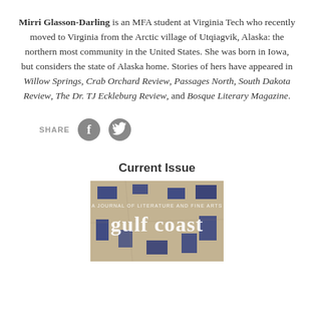Mirri Glasson-Darling is an MFA student at Virginia Tech who recently moved to Virginia from the Arctic village of Utqiagvik, Alaska: the northern most community in the United States. She was born in Iowa, but considers the state of Alaska home. Stories of hers have appeared in Willow Springs, Crab Orchard Review, Passages North, South Dakota Review, The Dr. TJ Eckleburg Review, and Bosque Literary Magazine.
[Figure (infographic): Share icons: SHARE label followed by Facebook and Twitter circular icon buttons]
Current Issue
[Figure (photo): Gulf Coast literary magazine cover image — A JOURNAL OF LITERATURE AND FINE ARTS, titled 'gulf coast', featuring an abstract collage-style artwork with blue rectangular shapes over a textured beige/brown background]